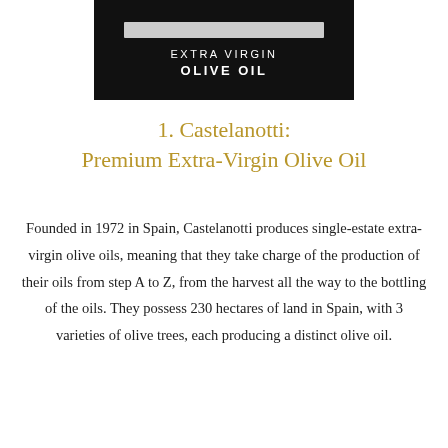[Figure (photo): Product image of Extra Virgin Olive Oil bottle label on black background with grey rectangular shape above the text]
1. Castelanotti: Premium Extra-Virgin Olive Oil
Founded in 1972 in Spain, Castelanotti produces single-estate extra-virgin olive oils, meaning that they take charge of the production of their oils from step A to Z, from the harvest all the way to the bottling of the oils. They possess 230 hectares of land in Spain, with 3 varieties of olive trees, each producing a distinct olive oil.